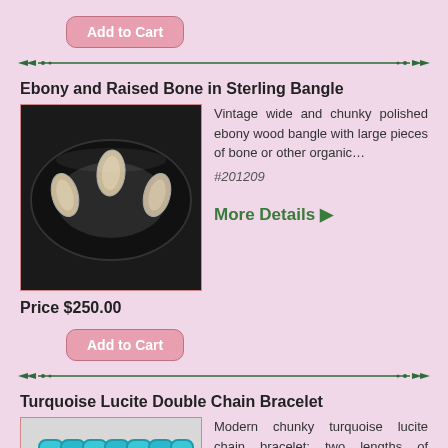Add to Cart
[Figure (illustration): Decorative divider with green arrow/diamond motifs on a horizontal line]
Ebony and Raised Bone in Sterling Bangle
[Figure (photo): Vintage wide and chunky polished ebony wood bangle with large raised bone or organic pieces set in silver on black bangle]
Vintage wide and chunky polished ebony wood bangle with large pieces of bone or other organic... #201209
More Details ▶
Price $250.00
Add to Cart
[Figure (illustration): Decorative divider with green arrow/diamond motifs on a horizontal line]
Turquoise Lucite Double Chain Bracelet
[Figure (photo): Modern chunky turquoise lucite chain bracelet with two lengths of different size chain links]
Modern chunky turquoise lucite chain bracelet; two lengths of different size chain links are... #216051